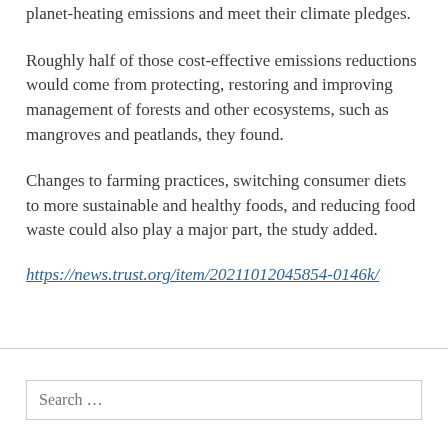planet-heating emissions and meet their climate pledges.
Roughly half of those cost-effective emissions reductions would come from protecting, restoring and improving management of forests and other ecosystems, such as mangroves and peatlands, they found.
Changes to farming practices, switching consumer diets to more sustainable and healthy foods, and reducing food waste could also play a major part, the study added.
https://news.trust.org/item/20211012045854-0146k/
Search …